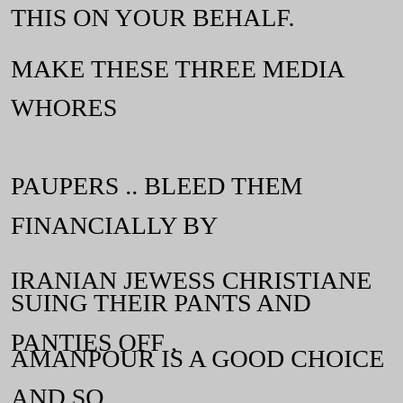THIS ON YOUR BEHALF.
MAKE THESE THREE MEDIA WHORES PAUPERS .. BLEED THEM FINANCIALLY BY SUING THEIR PANTS AND PANTIES OFF , AS THE CASE MAY BE
IRANIAN JEWESS CHRISTIANE AMANPOUR IS A GOOD CHOICE AND SO IS COMMIE  VAN JONES